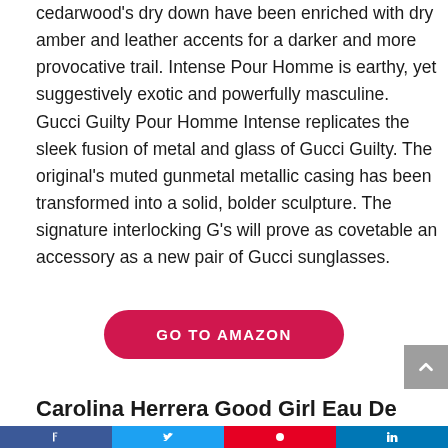cedarwood's dry down have been enriched with dry amber and leather accents for a darker and more provocative trail. Intense Pour Homme is earthy, yet suggestively exotic and powerfully masculine. Gucci Guilty Pour Homme Intense replicates the sleek fusion of metal and glass of Gucci Guilty. The original's muted gunmetal metallic casing has been transformed into a solid, bolder sculpture. The signature interlocking G's will prove as covetable an accessory as a new pair of Gucci sunglasses.
GO TO AMAZON
Carolina Herrera Good Girl Eau De Parfum Spray for Women, 1.7 Ounce
Social share bar